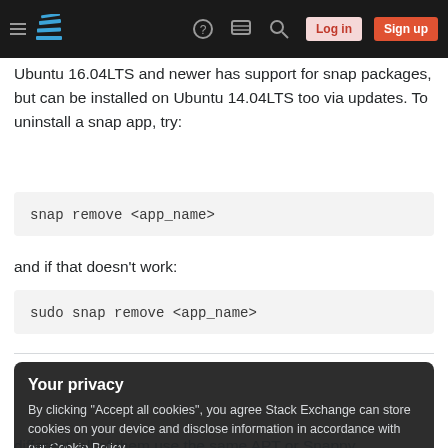Stack Exchange navigation bar with hamburger menu, logo, help, chat, search, Log in, Sign up buttons
Ubuntu 16.04LTS and newer has support for snap packages, but can be installed on Ubuntu 14.04LTS too via updates. To uninstall a snap app, try:
snap remove <app_name>
and if that doesn't work:
sudo snap remove <app_name>
Your privacy
By clicking "Accept all cookies", you agree Stack Exchange can store cookies on your device and disclose information in accordance with our Cookie Policy.
Accept all cookies  Customize settings
different, all of them use the same APT or Snappy